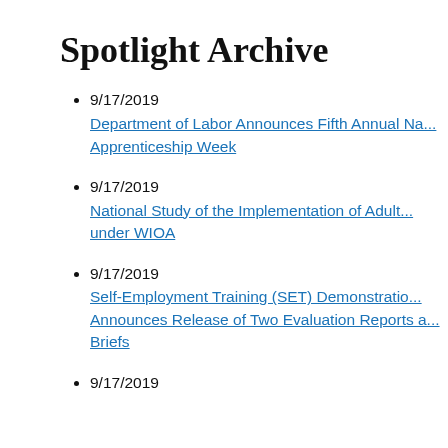Spotlight Archive
9/17/2019 Department of Labor Announces Fifth Annual Na... Apprenticeship Week
9/17/2019 National Study of the Implementation of Adult... under WIOA
9/17/2019 Self-Employment Training (SET) Demonstratio... Announces Release of Two Evaluation Reports a... Briefs
9/17/2019